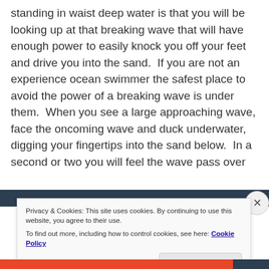standing in waist deep water is that you will be looking up at that breaking wave that will have enough power to easily knock you off your feet and drive you into the sand.  If you are not an experience ocean swimmer the safest place to avoid the power of a breaking wave is under them.  When you see a large approaching wave, face the oncoming wave and duck underwater, digging your fingertips into the sand below.  In a second or two you will feel the wave pass over
Privacy & Cookies: This site uses cookies. By continuing to use this website, you agree to their use.
To find out more, including how to control cookies, see here: Cookie Policy
Close and accept